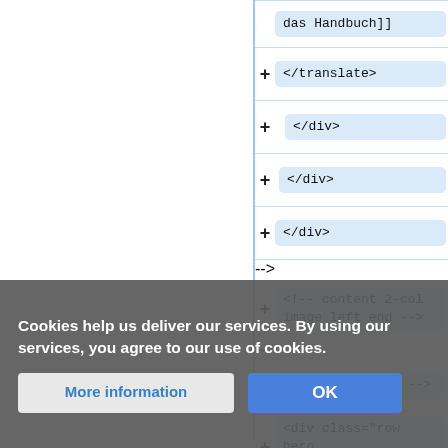[Figure (screenshot): Screenshot of a code editor or file tree UI showing XML/HTML code snippets in collapsible rows with plus buttons. Rows contain: 'das Handbuch]]', '</translate>', '</div>', '</div>', '</div>', '<!-- content 2-col image left end -->', '<!-- hero start -->', '<div class="row hero blue">', '<div class="col-md-8 no-padding">', and faded rows behind a cookie consent banner.]
Cookies help us deliver our services. By using our services, you agree to our use of cookies.
More information
OK